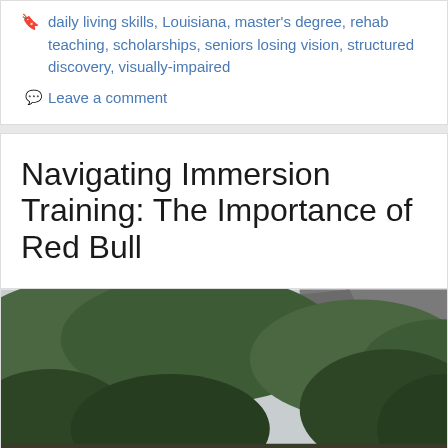daily living skills, Louisiana, master's degree, rehab teaching, scholarships, seniors losing vision, structured discovery, visually-impaired
Leave a comment
Navigating Immersion Training: The Importance of Red Bull
[Figure (photo): A person wearing a blindfold/sleep mask and sunglasses with a red shirt, standing outdoors with a forested mountain/rocky cliff in the background]